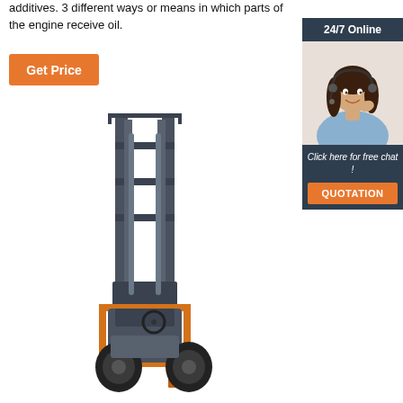additives. 3 different ways or means in which parts of the engine receive oil.
[Figure (other): Orange 'Get Price' button]
[Figure (other): Sidebar with '24/7 Online' header, a customer service representative with headset, 'Click here for free chat!' text, and an orange 'QUOTATION' button]
[Figure (photo): Forklift with orange forks and dark grey mast, viewed from front]